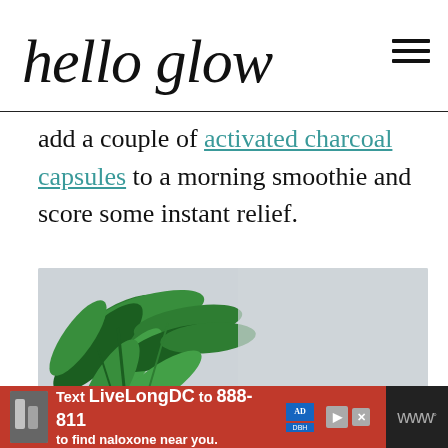hello glow
add a couple of activated charcoal capsules to a morning smoothie and score some instant relief.
[Figure (photo): Photo of green tropical plant leaves against a light grey background]
[Figure (infographic): Red advertisement banner reading: Text LiveLongDC to 888-811 to find naloxone near you.]